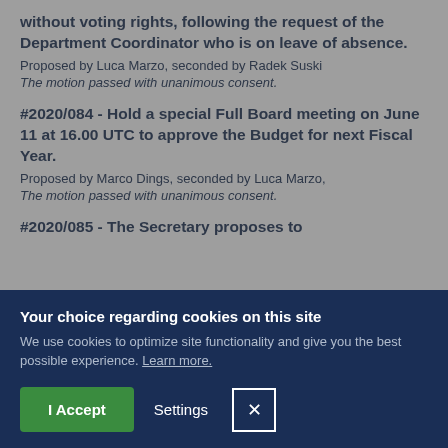without voting rights, following the request of the Department Coordinator who is on leave of absence.
Proposed by Luca Marzo, seconded by Radek Suski
The motion passed with unanimous consent.
#2020/084 - Hold a special Full Board meeting on June 11 at 16.00 UTC to approve the Budget for next Fiscal Year.
Proposed by Marco Dings, seconded by Luca Marzo,
The motion passed with unanimous consent.
#2020/085 - The Secretary proposes to
Your choice regarding cookies on this site
We use cookies to optimize site functionality and give you the best possible experience. Learn more.